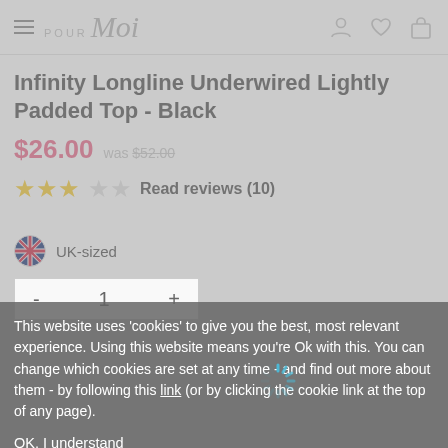Pour Moi — navigation header with hamburger menu and icons
Infinity Longline Underwired Lightly Padded Top - Black
$26.00  was $52.00
★★★☆☆  Read reviews (10)
UK-sized
- 1 +
This website uses 'cookies' to give you the best, most relevant experience. Using this website means you're Ok with this. You can change which cookies are set at any time - and find out more about them - by following this link (or by clicking the cookie link at the top of any page).
OK, I understand